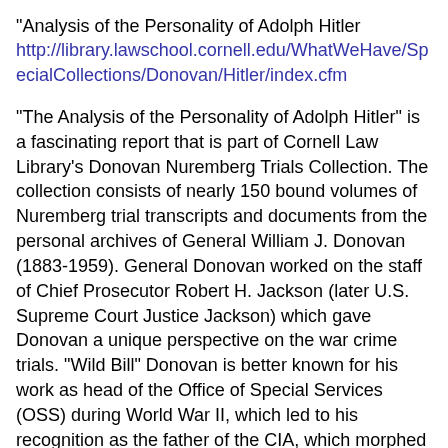"Analysis of the Personality of Adolph Hitler http://library.lawschool.cornell.edu/WhatWeHave/SpecialCollections/Donovan/Hitler/index.cfm
"The Analysis of the Personality of Adolph Hitler" is a fascinating report that is part of Cornell Law Library's Donovan Nuremberg Trials Collection. The collection consists of nearly 150 bound volumes of Nuremberg trial transcripts and documents from the personal archives of General William J. Donovan (1883-1959). General Donovan worked on the staff of Chief Prosecutor Robert H. Jackson (later U.S. Supreme Court Justice Jackson) which gave Donovan a unique perspective on the war crime trials. "Wild Bill" Donovan is better known for his work as head of the Office of Special Services (OSS) during World War II, which led to his recognition as the father of the CIA, which morphed from the OSS after the war. The report was commissioned by the OSS in preparation for dealing with Hitler and Germany after the war. The analysis of Hitler was compiled by Dr. Henry A. Murray, a pioneering psychologist of the time and Director of the Harvard Psychological Clinic.